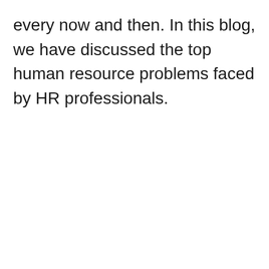every now and then. In this blog, we have discussed the top human resource problems faced by HR professionals.